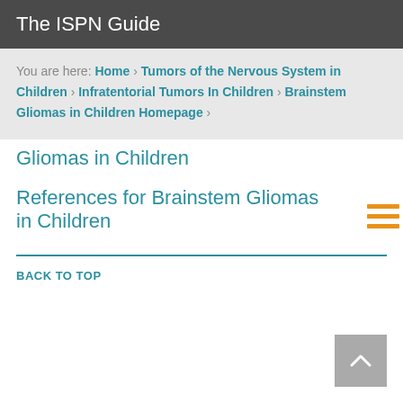The ISPN Guide
You are here: Home > Tumors of the Nervous System in Children > Infratentorial Tumors In Children > Brainstem Gliomas in Children Homepage >
Gliomas in Children
References for Brainstem Gliomas in Children
BACK TO TOP